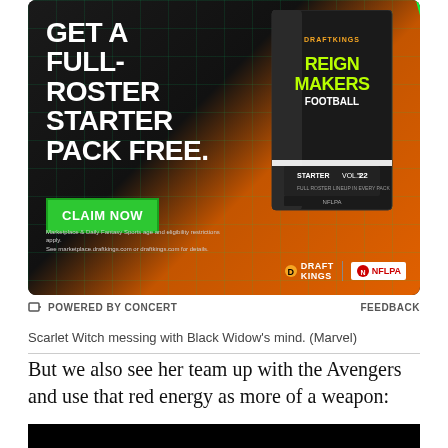[Figure (photo): DraftKings Reign Makers Football advertisement. Dark background with green grid pattern transitioning to orange. Large white bold text: GET A FULL-ROSTER STARTER PACK FREE. Green button: CLAIM NOW. On the right, a product box labeled DraftKings Reign Makers Football Starter Vol.1 '22. DraftKings and NFLPA logos at bottom right.]
POWERED BY CONCERT    FEEDBACK
Scarlet Witch messing with Black Widow's mind. (Marvel)
But we also see her team up with the Avengers and use that red energy as more of a weapon:
[Figure (photo): Black image/video frame at the bottom of the page.]